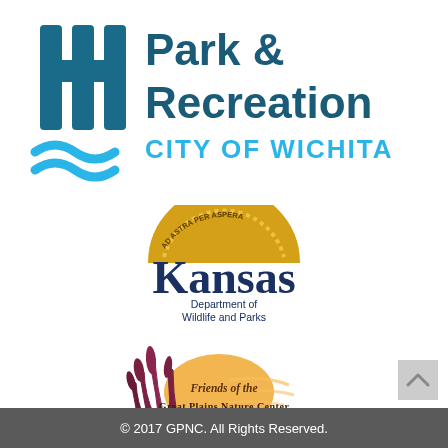[Figure (logo): Wichita Park & Recreation City of Wichita logo with stylized W and wave graphic in teal/blue]
[Figure (logo): Kansas Department of Wildlife and Parks logo with sunburst arc and serif Kansas text]
[Figure (logo): Friends of the Great Plains Nature Center logo with grass and sun illustration]
© 2017 GPNC. All Rights Reserved.